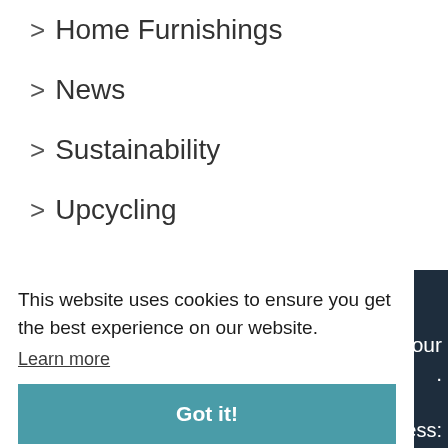> Home Furnishings
> News
> Sustainability
> Upcycling
This website uses cookies to ensure you get the best experience on our website. Learn more
Got it!
our
address: